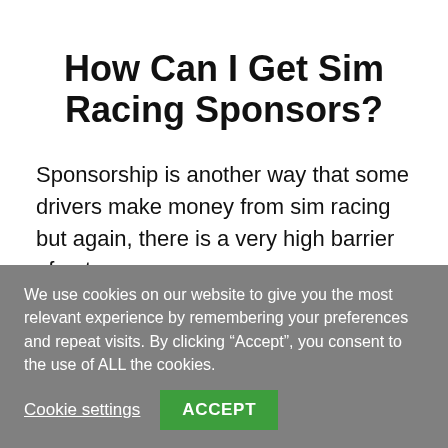How Can I Get Sim Racing Sponsors?
Sponsorship is another way that some drivers make money from sim racing but again, there is a very high barrier of entry.
Are you starting to see the pattern emerge
We use cookies on our website to give you the most relevant experience by remembering your preferences and repeat visits. By clicking “Accept”, you consent to the use of ALL the cookies.
Cookie settings
ACCEPT